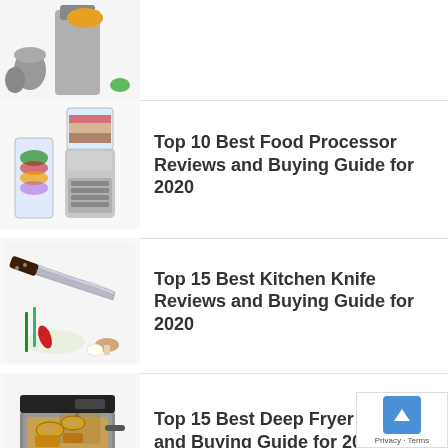[Figure (photo): Partial view of kitchen appliance (blender/food processor) with fruits, cropped at top of page]
[Figure (photo): Food processor with blender jar containing layered ingredients, with a smaller smoothie cup beside it]
Top 10 Best Food Processor Reviews and Buying Guide for 2020
[Figure (photo): Japanese kitchen knife with blade detail, beside fresh vegetables and mushrooms]
Top 15 Best Kitchen Knife Reviews and Buying Guide for 2020
[Figure (photo): Deep fryer with fried onion rings and chicken pieces, with green apples beside it]
Top 15 Best Deep Fryer Reviews and Buying Guide for 2020
Privacy · Terms